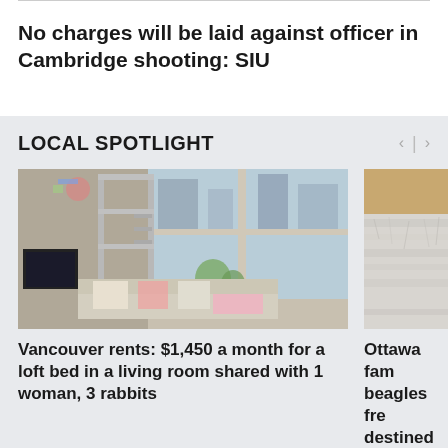No charges will be laid against officer in Cambridge shooting: SIU
LOCAL SPOTLIGHT
[Figure (photo): Interior photo of a small apartment living room with a metal loft bed, sofa with pillows, and large windows overlooking city buildings and trees.]
Vancouver rents: $1,450 a month for a loft bed in a living room shared with 1 woman, 3 rabbits
[Figure (photo): Partial photo of a fluffy grey/white animal, possibly a beagle or dog, cropped at the edge of the page.]
Ottawa fan beagles fre destined f